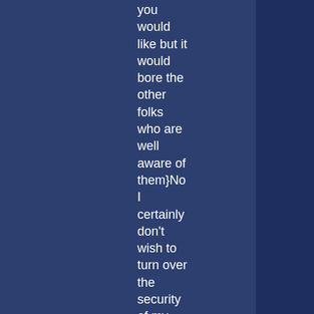you would like but it would bore the other folks who are well aware of them}No I certainly don't wish to turn over the security of my children and grandchil to